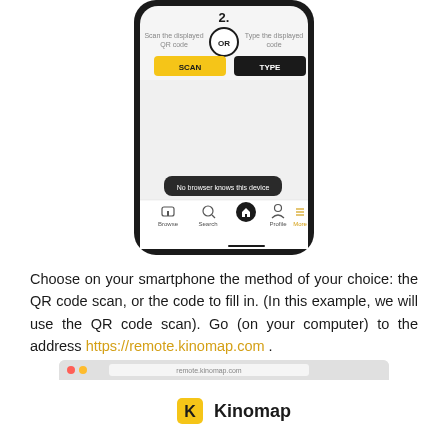[Figure (screenshot): Mobile phone screenshot showing a QR code or type code selection screen. There is a circle button labeled 'OR' in the center, with 'Scan the displayed QR code' on the left and 'Type the displayed code' on the right. A yellow 'SCAN' button and a dark 'TYPE' button are shown. Below is a message 'No browser knows this device'. Bottom navigation shows Browse, Search, Home (active), Profile, More tabs.]
Choose on your smartphone the method of your choice: the QR code scan, or the code to fill in. (In this example, we will use the QR code scan). Go (on your computer) to the address https://remote.kinomap.com .
[Figure (screenshot): Browser screenshot showing the Kinomap website with the Kinomap logo (black K on yellow background) and the text 'Kinomap'.]